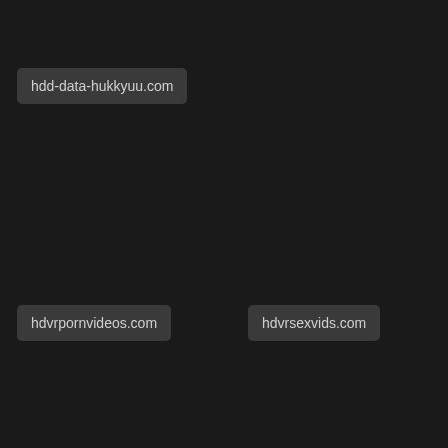hdd-data-hukkyuu.com
hdvrpornvideos.com
hdvrsexvids.com